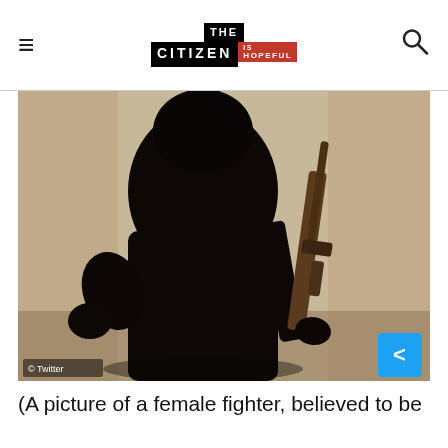THE CITIZEN IS HOPEFUL
[Figure (photo): A person dressed entirely in black robes and headscarf, holding an assault rifle (AK-style weapon), standing against a light-colored wall. The image is in greyscale/dark tones. A Twitter watermark appears in the bottom left corner.]
(A picture of a female fighter, believed to be